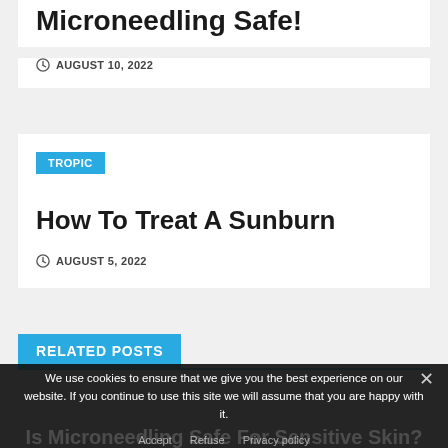Microneedling Safe?
AUGUST 10, 2022
TROPIC
How To Treat A Sunburn
AUGUST 5, 2022
RELATED POSTS
We use cookies to ensure that we give you the best experience on our website. If you continue to use this site we will assume that you are happy with it.
Accept   Refuse   Privacy policy